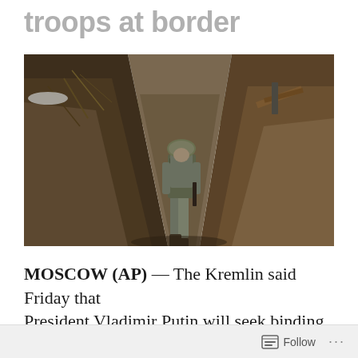troops at border
[Figure (photo): A soldier in military fatigues and helmet walks through a trench or fortified earthwork position. The trench walls are of dark brown soil. The background shows an open field and overcast sky.]
MOSCOW (AP) — The Kremlin said Friday that President Vladimir Putin will seek binding
Follow ...